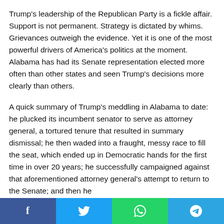Trump's leadership of the Republican Party is a fickle affair. Support is not permanent. Strategy is dictated by whims. Grievances outweigh the evidence. Yet it is one of the most powerful drivers of America's politics at the moment. Alabama has had its Senate representation elected more often than other states and seen Trump's decisions more clearly than others.
A quick summary of Trump's meddling in Alabama to date: he plucked its incumbent senator to serve as attorney general, a tortured tenure that resulted in summary dismissal; he then waded into a fraught, messy race to fill the seat, which ended up in Democratic hands for the first time in over 20 years; he successfully campaigned against that aforementioned attorney general's attempt to return to the Senate; and then he
[Figure (other): Social sharing bar with four buttons: Facebook (blue), Twitter (light blue), WhatsApp (green), Telegram (blue)]